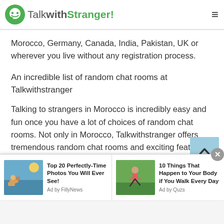TalkwithStranger!
Morocco, Germany, Canada, India, Pakistan, UK or wherever you live without any registration process.
An incredible list of random chat rooms at Talkwithstranger
Talking to strangers in Morocco is incredibly easy and fun once you have a lot of choices of random chat rooms. Not only in Morocco, Talkwithstranger offers tremendous random chat rooms and exciting features all over the world. So, would you want to know about all of those features and random chat
[Figure (other): Advertisement bar at the bottom with two ads: 'Top 20 Perfectly-Time Photos You Will Ever See! Ad by FillyNews' with a beach/pool photo, and '10 Things That Happen to Your Body if You Walk Every Day Ad by Quzs' with a running photo. A close button (X) is shown in top-right corner.]